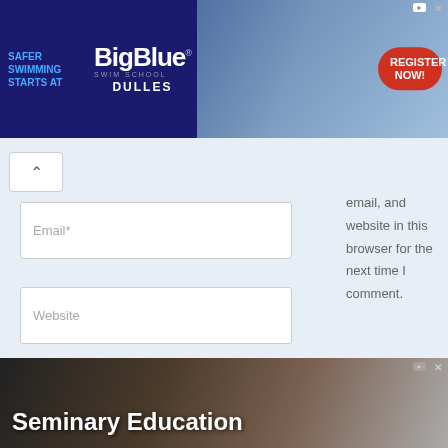[Figure (screenshot): BigBlue Swim School advertisement banner - dark blue background with 'SAFER SWIMMING STARTS AT' text, BigBlue Swim School Dulles logo, photo of instructor with child, and red REGISTER NOW button]
email, and website in this browser for the next time I comment.
[Figure (screenshot): Email input field with placeholder text 'Email*']
[Figure (screenshot): Website input field with placeholder text 'Website']
[Figure (screenshot): Blue 'Post Comment »' button]
[Figure (screenshot): Seminary Education advertisement banner with dark background showing text 'Seminary Education' in large white bold font]